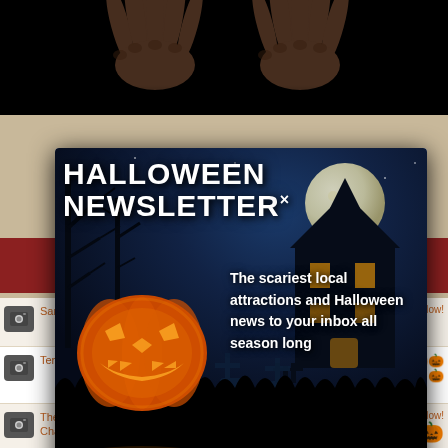[Figure (screenshot): Top dark area with hands silhouette from above]
[Figure (infographic): Halloween Newsletter popup modal with spooky night scene, jack-o-lantern, haunted house, moon, cemetery, title 'HALLOWEEN NEWSLETTER', tagline 'The scariest local attractions and Halloween news to your inbox all season long', Arizona Edition, email signup form with [your email] input and orange Join button]
|  | Name | City | Days | Rating |
| --- | --- | --- | --- | --- |
| 📷 | Sanctum of Horror | Mesa | ago | Rate Now! |
| 📷 | Terror in the Corn | Marana | 337 days ago | 🎃🎃🎃🎃🎃 |
| 📷 | The Crypt Haunted Attractions-Crypt/Asylum/ Chaos | Mesa | 348 days ago | Rate Now! |